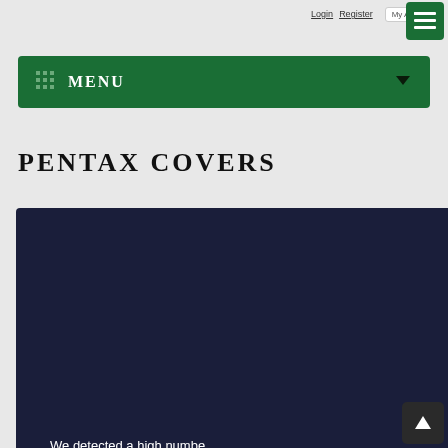Login  Register  My Account
[Figure (screenshot): Green navigation menu button with list icon in top right corner]
MENU
PENTAX COVERS
[Figure (screenshot): CAPTCHA overlay on dark navy background showing: 'We detected a high number from your connection. To co please confirm that you are human and not a spambot' with large italic text and an 'I'm not a robot' checkbox widget]